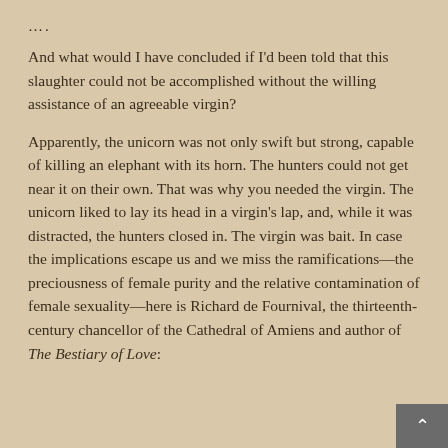....
And what would I have concluded if I'd been told that this slaughter could not be accomplished without the willing assistance of an agreeable virgin?
Apparently, the unicorn was not only swift but strong, capable of killing an elephant with its horn. The hunters could not get near it on their own. That was why you needed the virgin. The unicorn liked to lay its head in a virgin's lap, and, while it was distracted, the hunters closed in. The virgin was bait. In case the implications escape us and we miss the ramifications—the preciousness of female purity and the relative contamination of female sexuality—here is Richard de Fournival, the thirteenth-century chancellor of the Cathedral of Amiens and author of The Bestiary of Love: